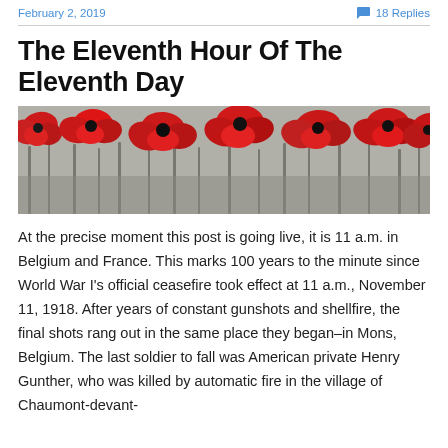February 2, 2019    💬 18 Replies
The Eleventh Hour Of The Eleventh Day
[Figure (photo): A field of vivid red poppy flowers in black-and-white background, wide banner format]
At the precise moment this post is going live, it is 11 a.m. in Belgium and France. This marks 100 years to the minute since World War I's official ceasefire took effect at 11 a.m., November 11, 1918. After years of constant gunshots and shellfire, the final shots rang out in the same place they began–in Mons, Belgium. The last soldier to fall was American private Henry Gunther, who was killed by automatic fire in the village of Chaumont-devant-